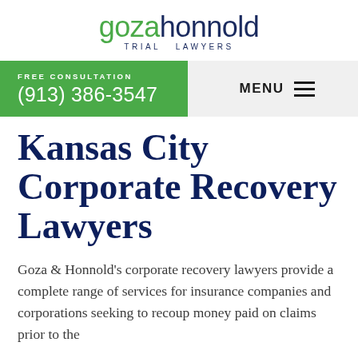gozahonnold TRIAL LAWYERS
FREE CONSULTATION (913) 386-3547
MENU
Kansas City Corporate Recovery Lawyers
Goza & Honnold's corporate recovery lawyers provide a complete range of services for insurance companies and corporations seeking to recoup money paid on claims prior to the